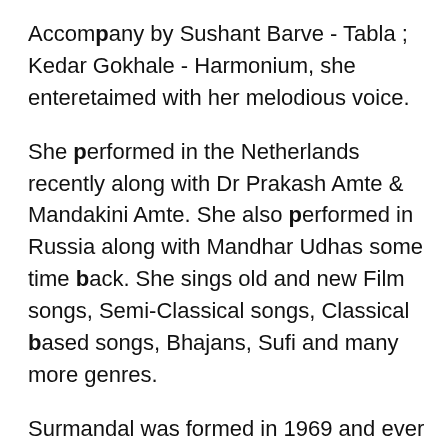Accompany by Sushant Barve - Tabla ; Kedar Gokhale - Harmonium, she enteretaimed with her melodious voice.
She performed in the Netherlands recently along with Dr Prakash Amte & Mandakini Amte. She also performed in Russia along with Mandhar Udhas some time back. She sings old and new Film songs, Semi-Classical songs, Classical based songs, Bhajans, Sufi and many more genres.
Surmandal was formed in 1969 and ever since since it has introduced many luminaries and legends to the City's cultural space. Surmandal which is now celebrating Golden Jubilee this year has become